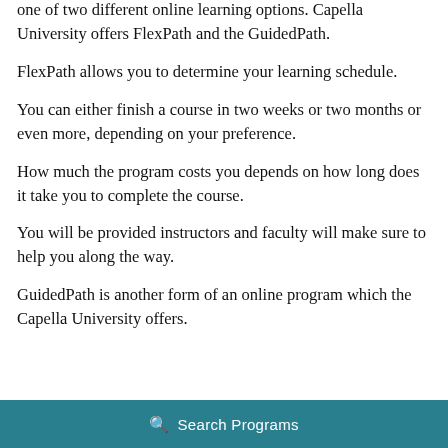one of two different online learning options. Capella University offers FlexPath and the GuidedPath.
FlexPath allows you to determine your learning schedule.
You can either finish a course in two weeks or two months or even more, depending on your preference.
How much the program costs you depends on how long does it take you to complete the course.
You will be provided instructors and faculty will make sure to help you along the way.
GuidedPath is another form of an online program which the Capella University offers.
🔍 Search Programs